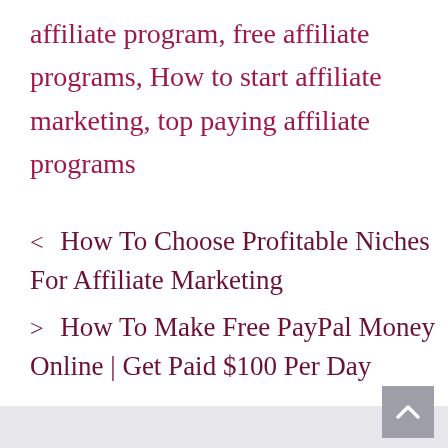affiliate program, free affiliate programs, How to start affiliate marketing, top paying affiliate programs
< How To Choose Profitable Niches For Affiliate Marketing
> How To Make Free PayPal Money Online | Get Paid $100 Per Day